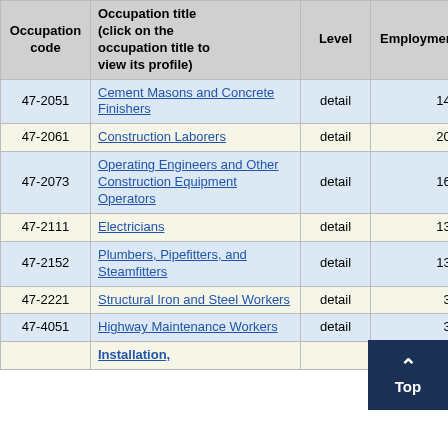| Occupation code | Occupation title (click on the occupation title to view its profile) | Level | Employment | Employment RSE |
| --- | --- | --- | --- | --- |
| 47-2051 | Cement Masons and Concrete Finishers | detail | 140 |  |
| 47-2061 | Construction Laborers | detail | 200 |  |
| 47-2073 | Operating Engineers and Other Construction Equipment Operators | detail | 160 | 19 |
| 47-2111 | Electricians | detail | 130 | 8 |
| 47-2152 | Plumbers, Pipefitters, and Steamfitters | detail | 130 | 8 |
| 47-2221 | Structural Iron and Steel Workers | detail | 30 | 26 |
| 47-4051 | Highway Maintenance Workers | detail | 35 |  |
|  | Installation, |  |  |  |